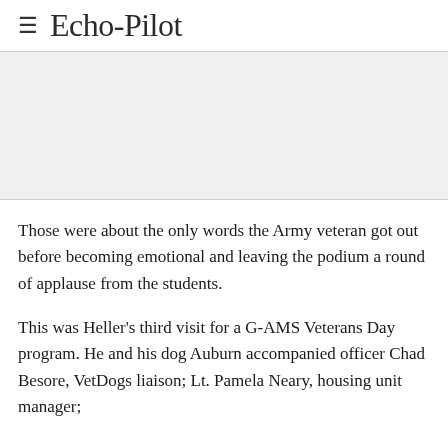Echo-Pilot
[Figure (other): Advertisement banner placeholder, light gray background]
Those were about the only words the Army veteran got out before becoming emotional and leaving the podium a round of applause from the students.
This was Heller's third visit for a G-AMS Veterans Day program. He and his dog Auburn accompanied officer Chad Besore, VetDogs liaison; Lt. Pamela Neary, housing unit manager;